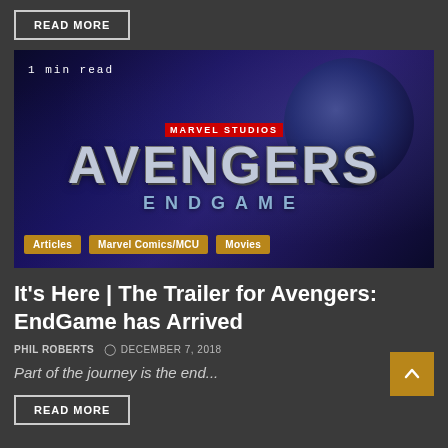READ MORE
[Figure (photo): Avengers: Endgame movie logo on a dark blue/purple cosmic background with an orb, with category tags 'Articles', 'Marvel Comics/MCU', 'Movies' and '1 min read' label]
It's Here | The Trailer for Avengers: EndGame has Arrived
PHIL ROBERTS  ⊙ DECEMBER 7, 2018
Part of the journey is the end...
READ MORE